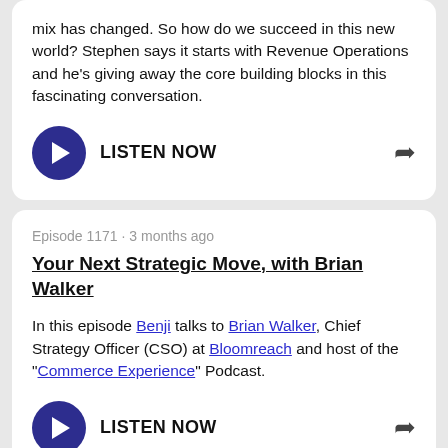mix has changed. So how do we succeed in this new world? Stephen says it starts with Revenue Operations and he's giving away the core building blocks in this fascinating conversation.
LISTEN NOW
Episode 1171 · 3 months ago
Your Next Strategic Move, with Brian Walker
In this episode Benji talks to Brian Walker, Chief Strategy Officer (CSO) at Bloomreach and host of the "Commerce Experience" Podcast.
LISTEN NOW